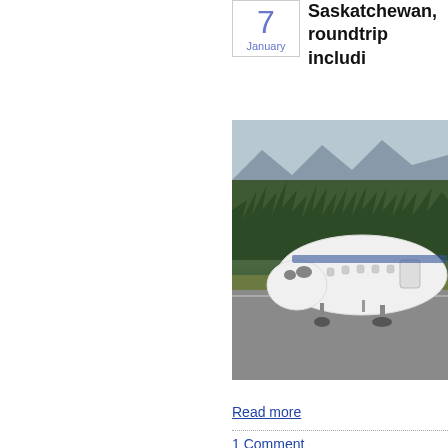7
January
Saskatchewan, roundtrip includi
[Figure (photo): Commercial airplane (white, with blue livery) taxiing on runway with snow-capped mountains and pine forest in background]
Read more
1 Comment